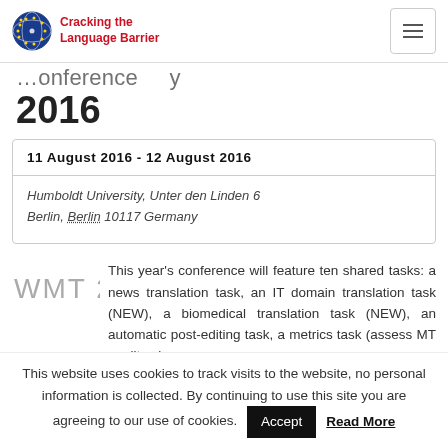Cracking the Language Barrier
2016
| 11 August 2016 - 12 August 2016 |
| Humboldt University, Unter den Linden 6
Berlin, Berlin 10117 Germany |
This year's conference will feature ten shared tasks: a news translation task, an IT domain translation task (NEW), a biomedical translation task (NEW), an automatic post-editing task, a metrics task (assess MT quality given
This website uses cookies to track visits to the website, no personal information is collected. By continuing to use this site you are agreeing to our use of cookies.